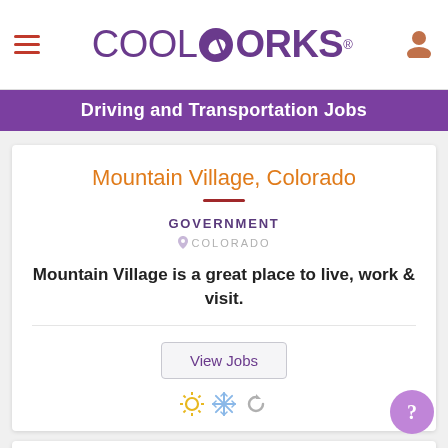CoolWorks — Driving and Transportation Jobs
Mountain Village, Colorado
GOVERNMENT
COLORADO
Mountain Village is a great place to live, work & visit.
View Jobs
[Figure (logo): AVA logo — stylized mountain peaks in dark charcoal and grey tones]
?